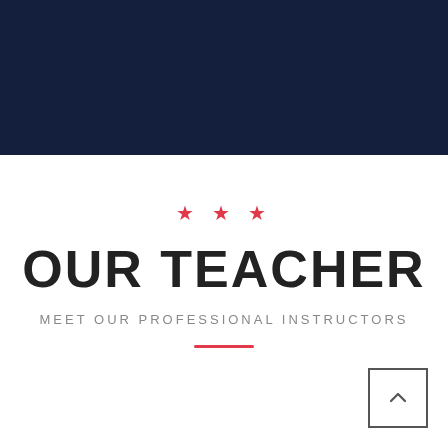[Figure (photo): Dark navy blue header banner with an overlay, appears to show a subtle background image beneath the dark blue tint]
OUR TEACHER
MEET OUR PROFESSIONAL INSTRUCTORS